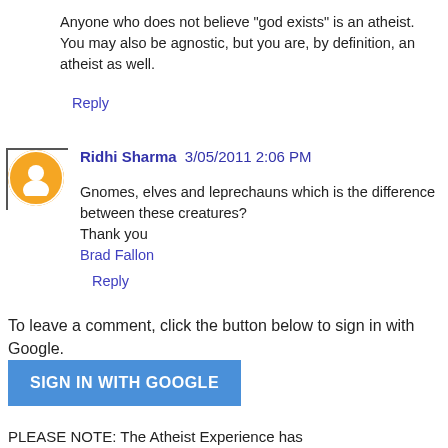Anyone who does not believe "god exists" is an atheist. You may also be agnostic, but you are, by definition, an atheist as well.
Reply
Ridhi Sharma 3/05/2011 2:06 PM
Gnomes, elves and leprechauns which is the difference between these creatures?
Thank you
Brad Fallon
Reply
To leave a comment, click the button below to sign in with Google.
SIGN IN WITH GOOGLE
PLEASE NOTE: The Atheist Experience has